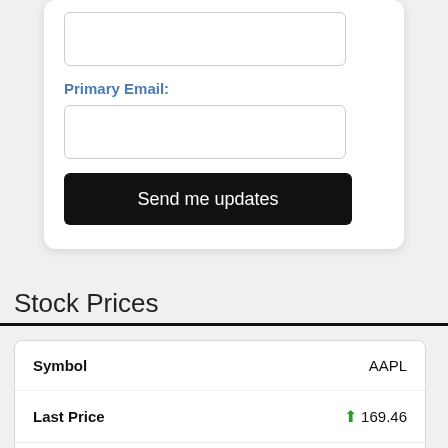Primary Email:
Send me updates
Stock Prices
| Symbol | AAPL |
| --- | --- |
| Last Price | ▲ 169.46 |
|  | ▼ TSCO.L 25? |